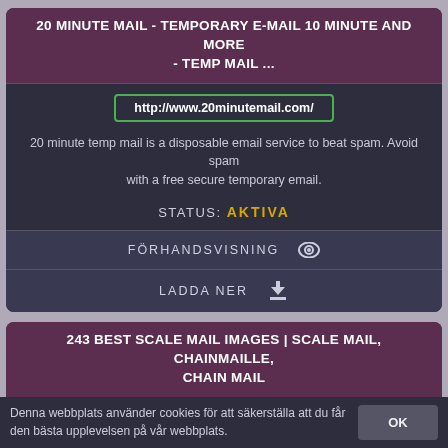20 MINUTE MAIL - TEMPORARY E-MAIL 10 MINUTE AND MORE - TEMP MAIL ...
http://www.20minutemail.com/
20 minute temp mail is a disposable email service to beat spam. Avoid spam with a free secure temporary email.
STATUS: AKTIVA
FÖRHANDSVISNING
LADDA NER
243 BEST SCALE MAIL IMAGES | SCALE MAIL, CHAINMAILLE, CHAIN MAIL
https://www.pinterest.com/lucindaledbette/scale-mail/
Denna webbplats använder cookies för att säkerställa att du får den bästa upplevelsen på vår webbplats.